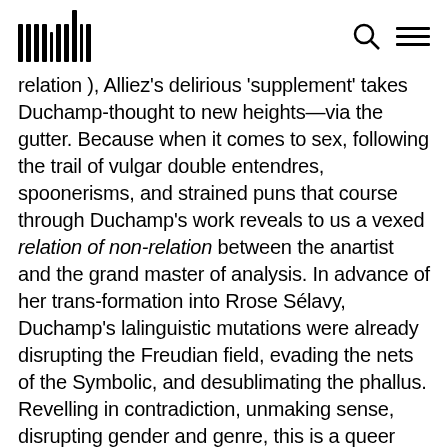[barcode logo] [search icon] [menu icon]
relation ), Alliez's delirious 'supplement' takes Duchamp-thought to new heights—via the gutter. Because when it comes to sex, following the trail of vulgar double entendres, spoonerisms, and strained puns that course through Duchamp's work reveals to us a vexed relation of non-relation between the anartist and the grand master of analysis. In advance of her trans-formation into Rrose Sélavy, Duchamp's lalinguistic mutations were already disrupting the Freudian field, evading the nets of the Symbolic, and desublimating the phallus. Revelling in contradiction, unmaking sense, disrupting gender and genre, this is a queer Duchamp who defies all analysis, already on the other side of 'the sex'